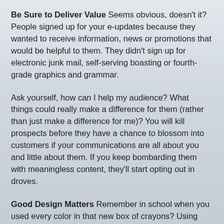Be Sure to Deliver Value Seems obvious, doesn't it? People signed up for your e-updates because they wanted to receive information, news or promotions that would be helpful to them. They didn't sign up for electronic junk mail, self-serving boasting or fourth-grade graphics and grammar.
Ask yourself, how can I help my audience? What things could really make a difference for them (rather than just make a difference for me)? You will kill prospects before they have a chance to blossom into customers if your communications are all about you and little about them. If you keep bombarding them with meaningless content, they'll start opting out in droves.
Good Design Matters Remember in school when you used every color in that new box of crayons? Using every...